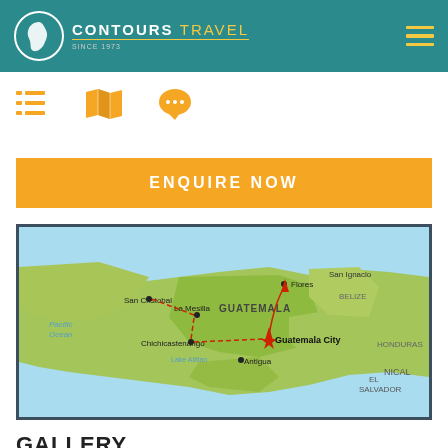CONTOURS TRAVEL
[Figure (other): Three icon buttons: list/itinerary icon, map icon, and chat/comment icon, in orange color]
ENQUIRE NOW
[Figure (map): Map of Guatemala and surrounding region showing a travel route connecting San Cristobal, La Mesilla, Chichicastenango, Lake Atitlan, Antigua, Guatemala City (marked with star), and Flores. Neighboring countries and regions labeled: Belize, Honduras, El Salvador, Nicaragua, Pacific Ocean. Dotted red route lines connecting the cities.]
GALLERY